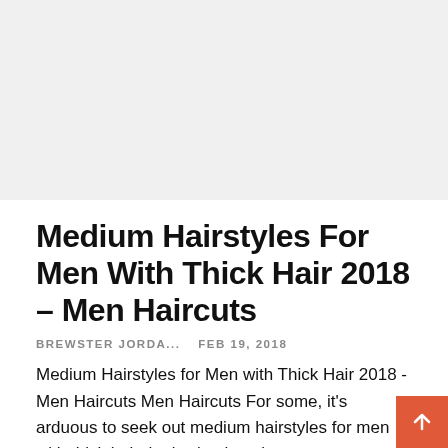[Figure (photo): Large placeholder image area with light gray background, representing a photo at the top of the article.]
Medium Hairstyles For Men With Thick Hair 2018 – Men Haircuts
BREWSTER JORDA...   FEB 19, 2018
Medium Hairstyles for Men with Thick Hair 2018 - Men Haircuts Men Haircuts For some, it's arduous to seek out medium hairstyles for men with thick hair that's simple to keep up on a commonplace. Lucky for you, we've lots of concepts for